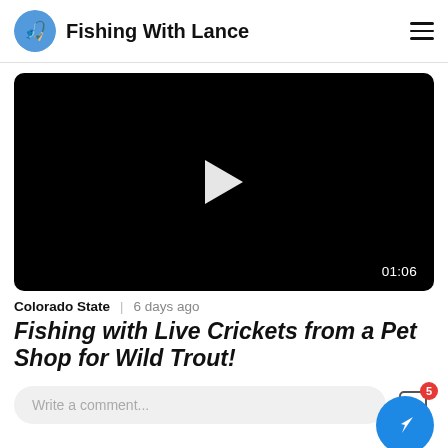Fishing With Lance
[Figure (screenshot): Black video thumbnail with white play button triangle in center and duration badge '01:06' in bottom right corner]
Colorado State  |  6 days ago
Fishing with Live Crickets from a Pet Shop for Wild Trout!
Write a comment...